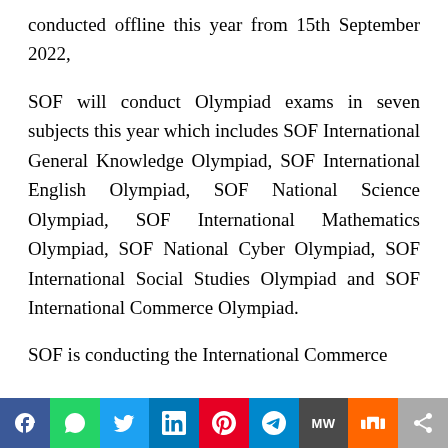conducted offline this year from 15th September 2022,
SOF will conduct Olympiad exams in seven subjects this year which includes SOF International General Knowledge Olympiad, SOF International English Olympiad, SOF National Science Olympiad, SOF International Mathematics Olympiad, SOF National Cyber Olympiad, SOF International Social Studies Olympiad and SOF International Commerce Olympiad.
SOF is conducting the International Commerce Olympiad...
[Figure (infographic): Social media share bar with icons: Facebook, WhatsApp, Twitter, LinkedIn, Pinterest, Telegram, MeWe, Mix, More]